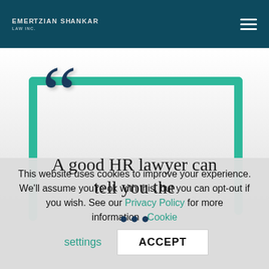EMERTZIAN SHANKAR
[Figure (illustration): Large decorative dark blue open quotation marks over a green rounded rectangular bracket frame, with quote text 'A good HR lawyer can tell you the' and ellipsis dots below]
This website uses cookies to improve your experience. We'll assume you're ok with this, but you can opt-out if you wish. See our Privacy Policy for more information  Cookie settings  ACCEPT